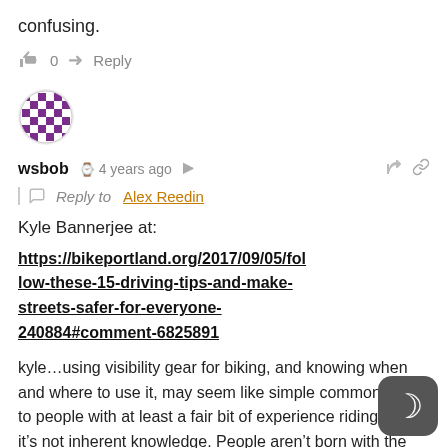confusing.
👍 0   ➜ Reply
[Figure (illustration): Purple and white mosaic/pixel art circular avatar for user wsbob]
wsbob  🕐 4 years ago  🔗  Reply to Alex Reedin
Kyle Bannerjee at:
https://bikeportland.org/2017/09/05/follow-these-15-driving-tips-and-make-streets-safer-for-everyone-240884#comment-6825891
kyle...using visibility gear for biking, and knowing when and where to use it, may seem like simple common sense to people with at least a fair bit of experience riding, but it's not inherent knowledge. People aren't born with the knowledge of relative visibility of colors